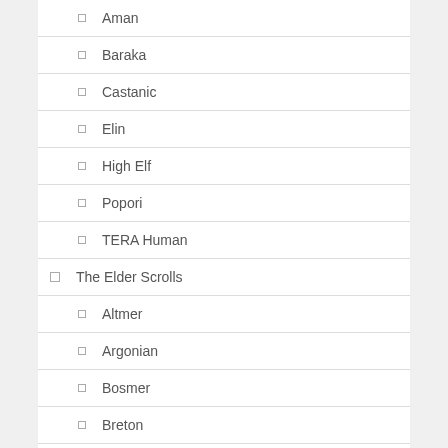Aman
Baraka
Castanic
Elin
High Elf
Popori
TERA Human
The Elder Scrolls
Altmer
Argonian
Bosmer
Breton
Dunmer
Imperial
Khajiit